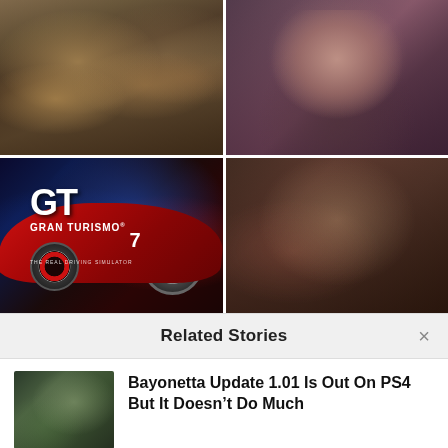[Figure (photo): Medieval warrior characters, game artwork with armored figures]
[Figure (photo): Young girl character looking distressed, game screenshot from The Last of Us]
[Figure (photo): Gran Turismo 7 game cover art with red sports car and GT logo]
[Figure (photo): Zombie/clicker creature attacking a person, horror game screenshot]
Related Stories
[Figure (photo): Bayonetta game character thumbnail]
Bayonetta Update 1.01 Is Out On PS4 But It Doesn't Do Much